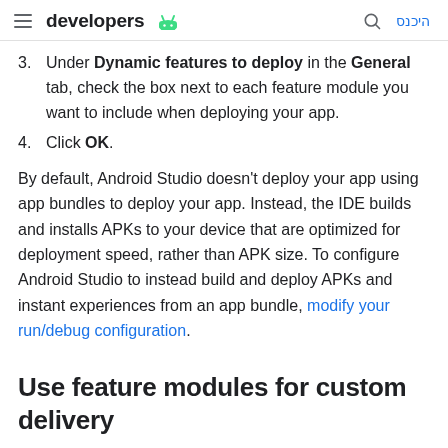developers היכנס
3. Under Dynamic features to deploy in the General tab, check the box next to each feature module you want to include when deploying your app.
4. Click OK.
By default, Android Studio doesn't deploy your app using app bundles to deploy your app. Instead, the IDE builds and installs APKs to your device that are optimized for deployment speed, rather than APK size. To configure Android Studio to instead build and deploy APKs and instant experiences from an app bundle, modify your run/debug configuration.
Use feature modules for custom delivery